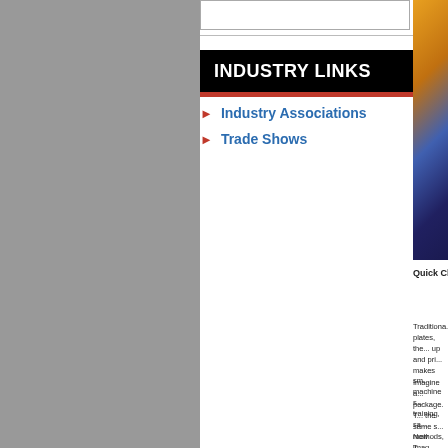INDUSTRY LINKS
Industry Associations
Trade Shows
[Figure (photo): Colorful decorative image partially visible on the right side of the page]
Quick Ch...
Traditiona... plates, the... up and pri... makes sm... machine s... training, sa...
Imagine a... package. T... the same s... methods, T... presses to...
Now imag... designed s... digital prin... package c... produce p... in lead tim...